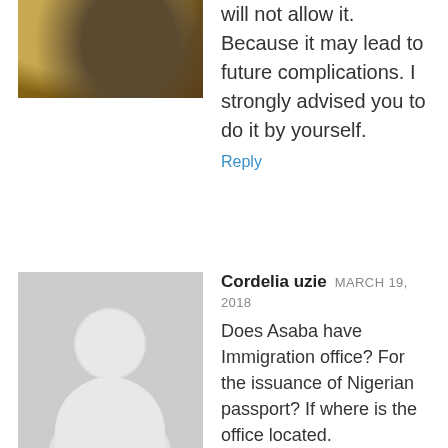will not allow it. Because it may lead to future complications. I strongly advised you to do it by yourself.
Reply
[Figure (photo): Profile photo thumbnail showing a golden/brown textured image, partially visible at top]
Cordelia uzie   MARCH 19, 2018
Does Asaba have Immigration office? For the issuance of Nigerian passport? If where is the office located.
Reply
[Figure (photo): Profile photo of O. R. Salahudeen showing a close-up of a passport or similar document]
O. R. Salahudeen   MARCH 20, 2018
Please check our website on addresses of all passport offices in Nigeria, you will get it there. Thanks
Reply